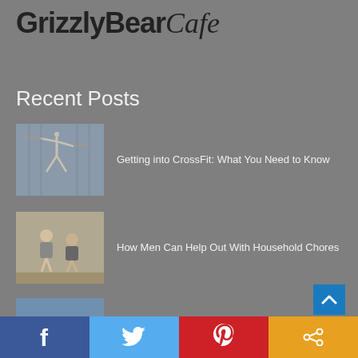[Figure (logo): GrizzlyBear Cafe logo — bold sans-serif 'GrizzlyBear' with italic serif 'Cafe']
Recent Posts
Getting into CrossFit: What You Need to Know
How Men Can Help Out With Household Chores
5 Things to Consider When Moving Neighborhoods